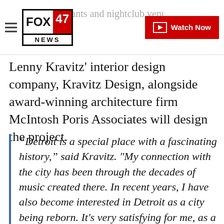FOX 47 NEWS | Watch Now
restaurants and nightclub venues.
Lenny Kravitz' interior design company, Kravitz Design, alongside award-winning architecture firm McIntosh Poris Associates will design the project.
“Detroit is a special place with a fascinating history,” said Kravitz. "My connection with the city has been through the decades of music created there. In recent years, I have also become interested in Detroit as a city being reborn. It's very satisfying for me, as a result, to work with Christos Moisides, who has a true love for Detroit and a passion for its success as a city. He has assembled a great team and I am pleased